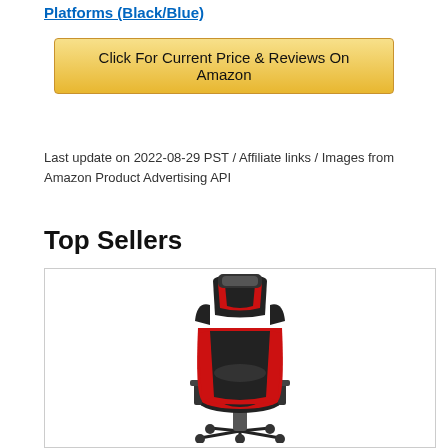Platforms (Black/Blue)
Click For Current Price & Reviews On Amazon
Last update on 2022-08-29 PST / Affiliate links / Images from Amazon Product Advertising API
Top Sellers
[Figure (photo): A gaming chair with black and red upholstery, featuring a high back with head/neck support cushion, lumbar support, adjustable armrests, and a five-star wheeled base. The chair has a racing-style design.]